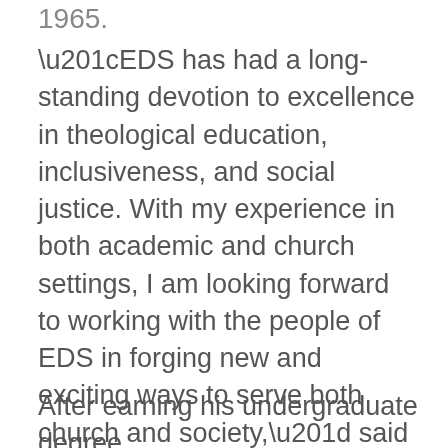1965.
“EDS has had a long-standing devotion to excellence in theological education, inclusiveness, and social justice. With my experience in both academic and church settings, I am looking forward to working with the people of EDS in forging new and exciting ways to serve both church and society,” said Nelsen, who was a volunteer with the Southern Christian Leadership Conference in 1965, when the Rev. Martin Luther King, Jr., was the organization’s president.
After earning his undergraduate degree,